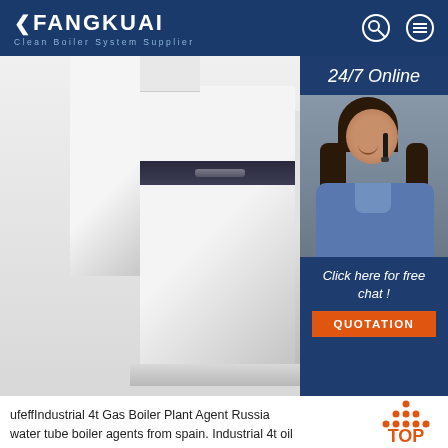FANGKUAI - Clean Boiler System Supplier
[Figure (photo): Industrial boiler unit shown in white/grey with dark band, alongside a customer service representative with headset and 24/7 Online panel with quotation button]
ufeffIndustrial 4t Gas Boiler Plant Agent Russia water tube boiler agents from spain. Industrial 4t oil fired boiler Manufacturers Georgia. 4t gas boiler Automatic Industrial Georgia. A boiler incorporates the furnace and drum, furnace used for